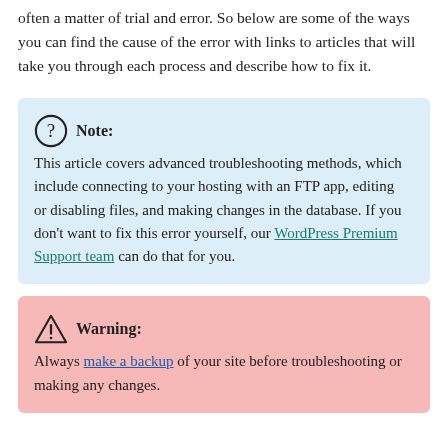often a matter of trial and error. So below are some of the ways you can find the cause of the error with links to articles that will take you through each process and describe how to fix it.
Note: This article covers advanced troubleshooting methods, which include connecting to your hosting with an FTP app, editing or disabling files, and making changes in the database. If you don't want to fix this error yourself, our WordPress Premium Support team can do that for you.
Warning: Always make a backup of your site before troubleshooting or making any changes.